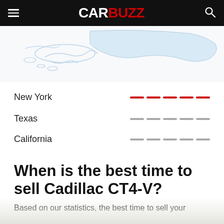CARBUZZ
[Figure (map): Partial world map in light blue/white tones showing geographic regions, cut off at top]
New York
Texas
California
When is the best time to sell Cadillac CT4-V?
Based on our statistics, the best time to sell your